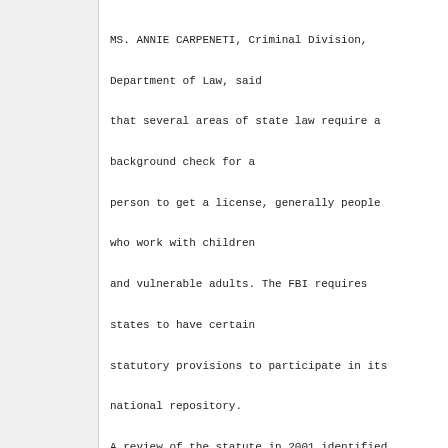MS. ANNIE CARPENETI, Criminal Division, Department of Law, said that several areas of state law require a background check for a person to get a license, generally people who work with children and vulnerable adults. The FBI requires states to have certain statutory provisions to participate in its national repository. A review of the statute in 2001 identified a number of inadequacies, but without an extension of the July 1 deadline, the state will be unable to get national background checks for people like teachers. She noted that